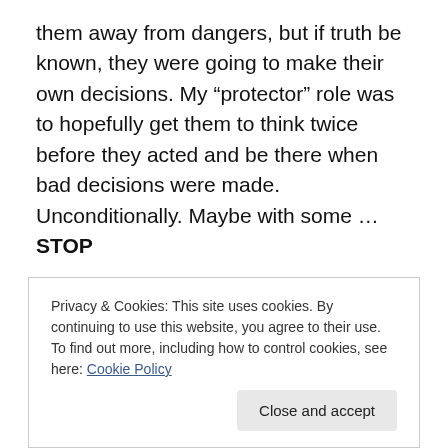them away from dangers, but if truth be known, they were going to make their own decisions. My “protector” role was to hopefully get them to think twice before they acted and be there when bad decisions were made. Unconditionally. Maybe with some … STOP
… disappointment, but always unconditional. And the disappointment wasn’t directed at them. It was aimed squarely at me who obviously didn’t communicate the message correctly.
As I’ve gotten older, I can see the transference of this trait
Privacy & Cookies: This site uses cookies. By continuing to use this website, you agree to their use.
To find out more, including how to control cookies, see here: Cookie Policy